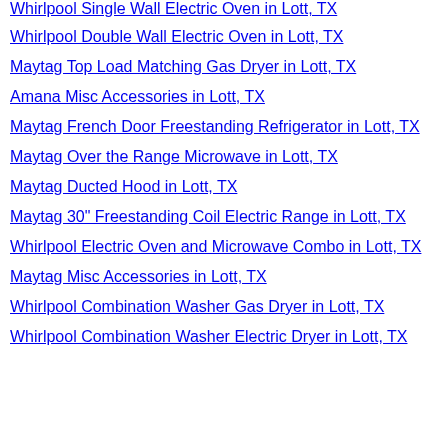Whirlpool Single Wall Electric Oven in Lott, TX
Whirlpool Double Wall Electric Oven in Lott, TX
Maytag Top Load Matching Gas Dryer in Lott, TX
Amana Misc Accessories in Lott, TX
Maytag French Door Freestanding Refrigerator in Lott, TX
Maytag Over the Range Microwave in Lott, TX
Maytag Ducted Hood in Lott, TX
Maytag 30" Freestanding Coil Electric Range in Lott, TX
Whirlpool Electric Oven and Microwave Combo in Lott, TX
Maytag Misc Accessories in Lott, TX
Whirlpool Combination Washer Gas Dryer in Lott, TX
Whirlpool Combination Washer Electric Dryer in Lott, TX